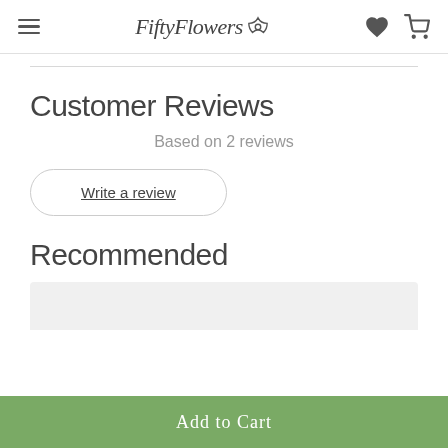FiftyFlowers
Customer Reviews
Based on 2 reviews
Write a review
Recommended
Add to Cart